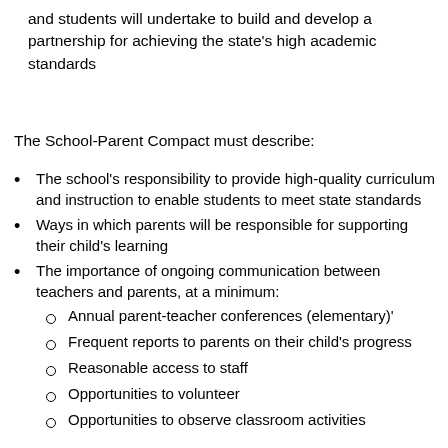and students will undertake to build and develop a partnership for achieving the state's high academic standards
The School-Parent Compact must describe:
The school's responsibility to provide high-quality curriculum and instruction to enable students to meet state standards
Ways in which parents will be responsible for supporting their child's learning
The importance of ongoing communication between teachers and parents, at a minimum:
Annual parent-teacher conferences (elementary)'
Frequent reports to parents on their child's progress
Reasonable access to staff
Opportunities to volunteer
Opportunities to observe classroom activities